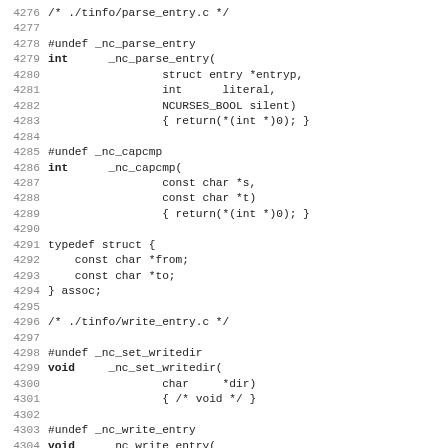4276 /* ./tinfo/parse_entry.c */
4277
4278 #undef _nc_parse_entry
4279 int      _nc_parse_entry(
4280                  struct entry *entryp,
4281                  int      literal,
4282                  NCURSES_BOOL silent)
4283                  { return(*(int *)0); }
4284
4285 #undef _nc_capcmp
4286 int      _nc_capcmp(
4287                  const char *s,
4288                  const char *t)
4289                  { return(*(int *)0); }
4290
4291 typedef struct {
4292     const char *from;
4293     const char *to;
4294 } assoc;
4295
4296 /* ./tinfo/write_entry.c */
4297
4298 #undef _nc_set_writedir
4299 void     _nc_set_writedir(
4300                  char     *dir)
4301                  { /* void */ }
4302
4303 #undef _nc_write_entry
4304 void     _nc_write_entry(
4305                  TERMTYPE *const tp)
4306                  { /* void */ }
4307